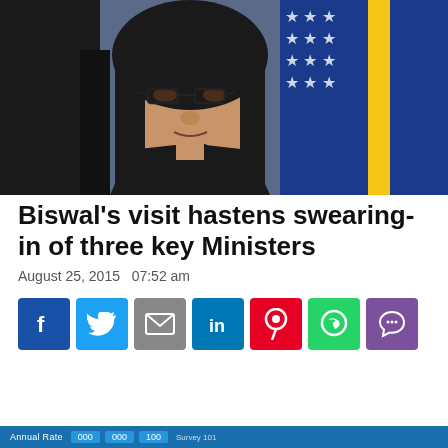[Figure (photo): Photo of a woman with glasses speaking at a microphone, with an American flag in the background. This is Biswal.]
Biswal's visit hastens swearing-in of three key Ministers
August 25, 2015   07:52 am
[Figure (infographic): Social media sharing buttons: Facebook (blue), Twitter (light blue), Email (grey), LinkedIn (dark blue), Pinterest (red), WhatsApp (green), Viber (purple)]
[Figure (infographic): Partially visible bar chart or data table at the bottom of the page with numbers and blue background.]